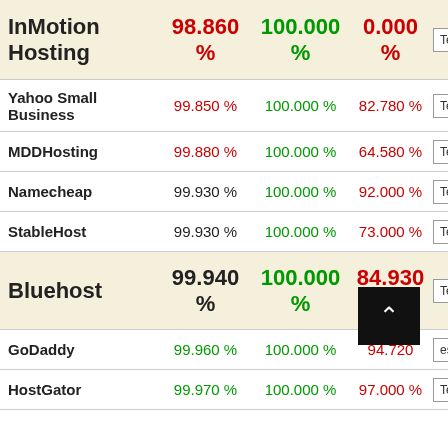| Provider | Uptime | Max Uptime | Response | Button |
| --- | --- | --- | --- | --- |
| InMotion Hosting | 98.860 % | 100.000 % | 0.000 % | Test Re |
| Yahoo Small Business | 99.850 % | 100.000 % | 82.780 % | Test Re |
| MDDHosting | 99.880 % | 100.000 % | 64.580 % | Test Re |
| Namecheap | 99.930 % | 100.000 % | 92.000 % | Test Re |
| StableHost | 99.930 % | 100.000 % | 73.000 % | Test Re |
| Bluehost | 99.940 % | 100.000 % | 84.930 % | Test Re |
| GoDaddy | 99.960 % | 100.000 % | 94.720 % | Test Re |
| HostGator | 99.970 % | 100.000 % | 97.000 % | Test Re |